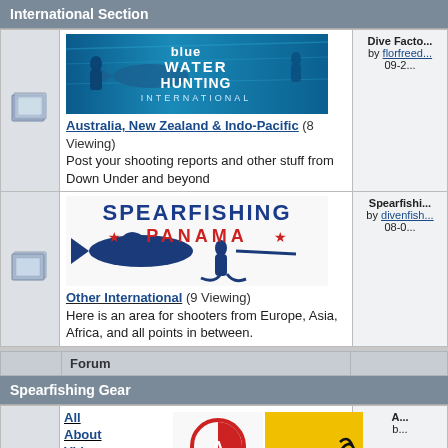International Section
[Figure (photo): Blue Water Hunting International banner — underwater spearfishing image with divers and a large fish]
Australia, New Zealand & Indo-Pacific (8 Viewing)
Post your shooting reports and other stuff from Down Under and beyond
Dive Facto... by florfreed... 09-29...
[Figure (logo): Spearfishing Panama logo — dark blue fish and diver silhouette with red star text]
Other International (9 Viewing)
Here is an area for shooters from Europe, Asia, Africa, and all points in between.
Spearfishi... by divenfish... 08-04...
Spearfishing Gear
Forum
[Figure (logo): American Dive Co. logo (red circular icon) and Gannet yellow brand banner]
All About Video and Photo Gear (12 Viewing)
This section is for your video and photography gear questions, comments, and experiences